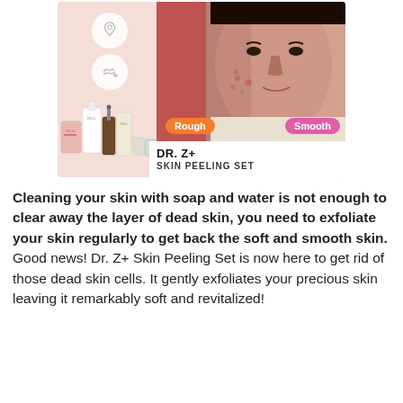[Figure (photo): Product advertisement image for DR. Z+ Skin Peeling Set showing a split-face comparison (Rough vs Smooth) with product bottles and icons on a pink background]
Cleaning your skin with soap and water is not enough to clear away the layer of dead skin, you need to exfoliate your skin regularly to get back the soft and smooth skin. Good news! Dr. Z+ Skin Peeling Set is now here to get rid of those dead skin cells. It gently exfoliates your precious skin leaving it remarkably soft and revitalized!